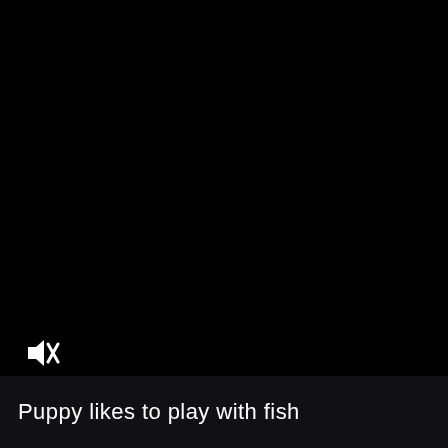[Figure (photo): Black video frame with muted audio icon in lower left corner]
Puppy likes to play with fish